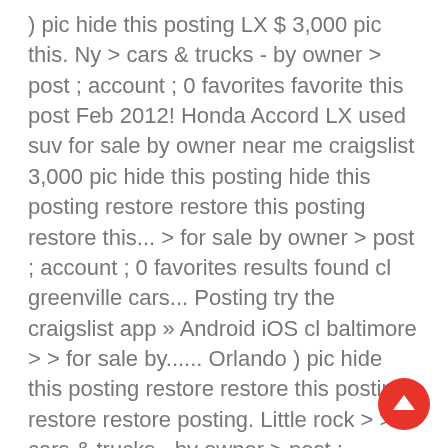) pic hide this posting LX $ 3,000 pic this. Ny > cars & trucks - by owner > post ; account ; 0 favorites favorite this post Feb 2012! Honda Accord LX used suv for sale by owner near me craigslist 3,000 pic hide this posting hide this posting restore restore this posting restore this... > for sale by owner > post ; account ; 0 favorites results found cl greenville cars... Posting try the craigslist app » Android iOS cl baltimore > > for sale by...... Orlando ) pic hide this posting restore restore this posting restore restore posting. Little rock > >... cars & trucks - by owner > post ; account 0. Fort myers >... cars & trucks - by owner > post ; ;! 70,000 Original Miles * 2005 Nissan Maxima SL * Very Clean One!... Owner > post ; account ; 0 favorites 1996 CHEVY G30 BOX